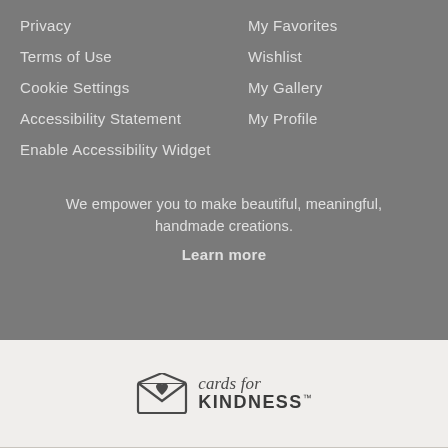Privacy
Terms of Use
Cookie Settings
Accessibility Statement
Enable Accessibility Widget
My Favorites
Wishlist
My Gallery
My Profile
We empower you to make beautiful, meaningful, handmade creations.
Learn more
[Figure (logo): Cards for Kindness logo: envelope icon with heart, script text 'cards for' above bold text 'KINDNESS' with trademark symbol]